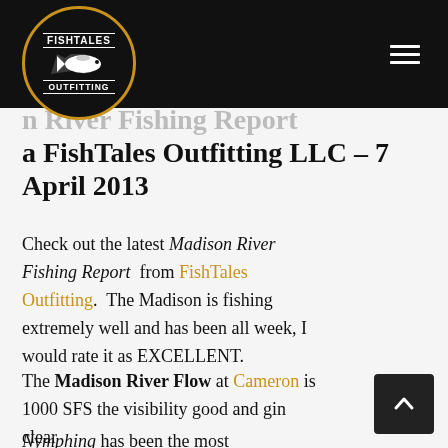FishTales Outfitting
Madison River Fishing Report a FishTales Outfitting LLC – 7 April 2013
Check out the latest Madison River Fishing Report from FishTales Outfitting. The Madison is fishing extremely well and has been all week, I would rate it as EXCELLENT.
The Madison River Flow at Cameron is 1000 SFS the visibility good and gin clear
Nymphing has been the most